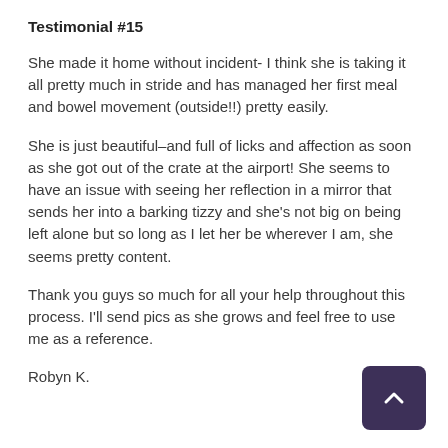Testimonial #15
She made it home without incident- I think she is taking it all pretty much in stride and has managed her first meal and bowel movement (outside!!) pretty easily.
She is just beautiful–and full of licks and affection as soon as she got out of the crate at the airport! She seems to have an issue with seeing her reflection in a mirror that sends her into a barking tizzy and she's not big on being left alone but so long as I let her be wherever I am, she seems pretty content.
Thank you guys so much for all your help throughout this process. I'll send pics as she grows and feel free to use me as a reference.
Robyn K.